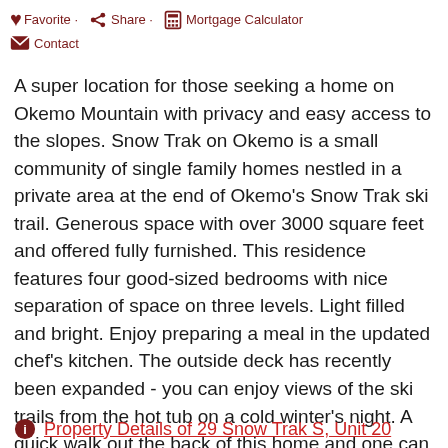Favorite · Share · Mortgage Calculator · Contact
A super location for those seeking a home on Okemo Mountain with privacy and easy access to the slopes. Snow Trak on Okemo is a small community of single family homes nestled in a private area at the end of Okemo's Snow Trak ski trail. Generous space with over 3000 square feet and offered fully furnished. This residence features four good-sized bedrooms with nice separation of space on three levels. Light filled and bright. Enjoy preparing a meal in the updated chef's kitchen. The outside deck has recently been expanded - you can enjoy views of the ski trails from the hot tub on a cold winter's night. A quick walk out the back of this home and one can access the Kettle Brook trail. Come see this quiet setting on Okemo!
Property Details of 29 Snow Trak S, Unit 20